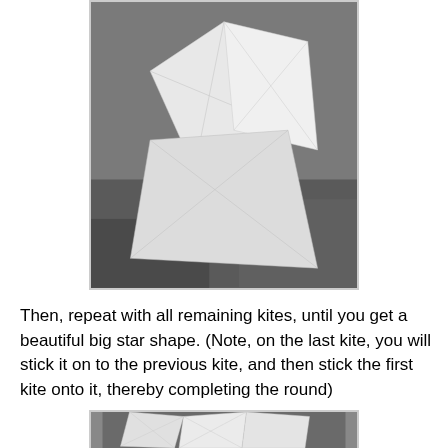[Figure (photo): Photo of white paper folded into kite shapes arranged on a gray textured surface, showing a partial star shape formation from origami kites.]
Then, repeat with all remaining kites, until you get a beautiful big star shape. (Note, on the last kite, you will stick it on to the previous kite, and then stick the first kite onto it, thereby completing the round)
[Figure (photo): Photo of white paper kites arranged showing bottom portion of a star shape on gray background.]